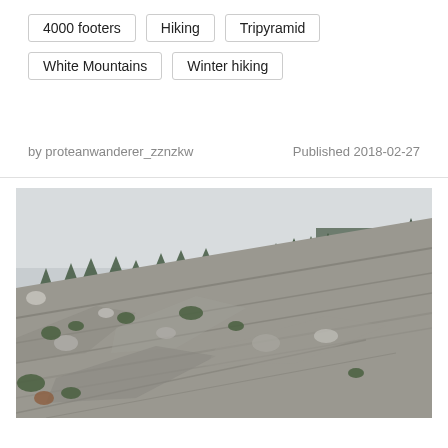4000 footers
Hiking
Tripyramid
White Mountains
Winter hiking
by proteanwanderer_zznzkw
Published 2018-02-27
[Figure (photo): Rocky mountain slope with layered granite slabs angled steeply, small evergreen trees growing among the rocks, and a view of forested valley and overcast sky in the background. White Mountains hiking scene.]